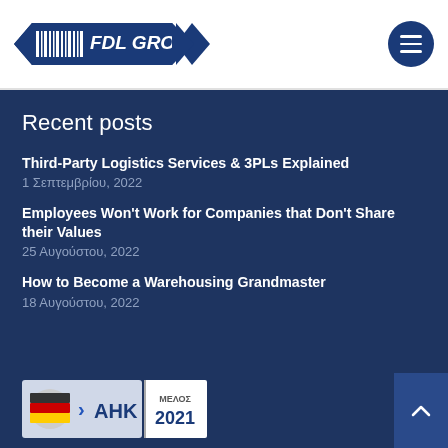FDL GROUP
Recent posts
Third-Party Logistics Services & 3PLs Explained
1 Σεπτεμβρίου, 2022
Employees Won't Work for Companies that Don't Share their Values
25 Αυγούστου, 2022
How to Become a Warehousing Grandmaster
18 Αυγούστου, 2022
[Figure (logo): AHK member badge with ΜΕΛΟΣ 2021 label]